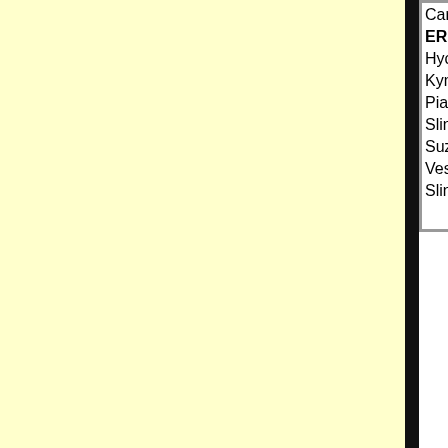|  |  |
| --- | --- |
| Carefree Custom Cycles | C |
| ERIK BUELL RACING |  |
| Hyosung |  |
| Kymco |  |
| Piaggio |  |
| Slingshot |  |
| Suzuki |  |
| Vespa |  |
| Slingshot |  |
S
ADDITIONAL DETAILS
Year: 2009
Make: SYM
Model: Mio 50
Type: Scooter
Class: Motorcycle
Location: Denver, CO